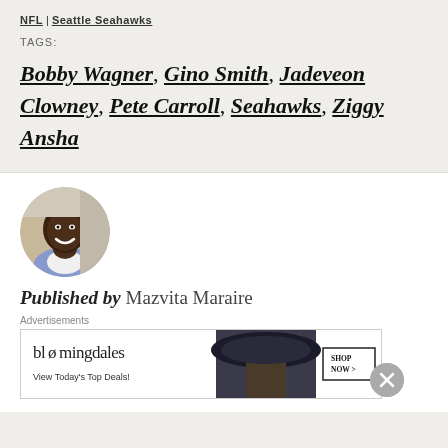NFL | Seattle Seahawks
TAGS:
Bobby Wagner, Gino Smith, Jadeveon Clowney, Pete Carroll, Seahawks, Ziggy Ansha
[Figure (photo): Circular profile photo of author Mazvita Maraire, a smiling Black man]
Published by Mazvita Maraire
[Figure (screenshot): Bloomingdale's advertisement: View Today's Top Deals! SHOP NOW >]